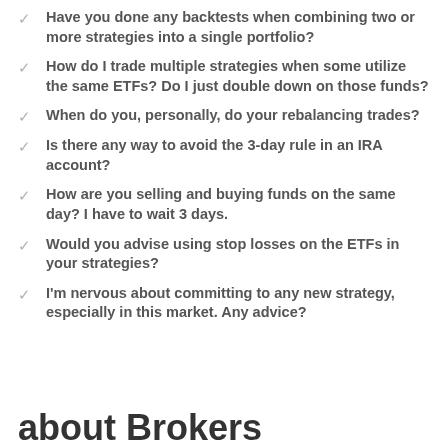Have you done any backtests when combining two or more strategies into a single portfolio?
How do I trade multiple strategies when some utilize the same ETFs? Do I just double down on those funds?
When do you, personally, do your rebalancing trades?
Is there any way to avoid the 3-day rule in an IRA account?
How are you selling and buying funds on the same day? I have to wait 3 days.
Would you advise using stop losses on the ETFs in your strategies?
I'm nervous about committing to any new strategy, especially in this market. Any advice?
about Brokers